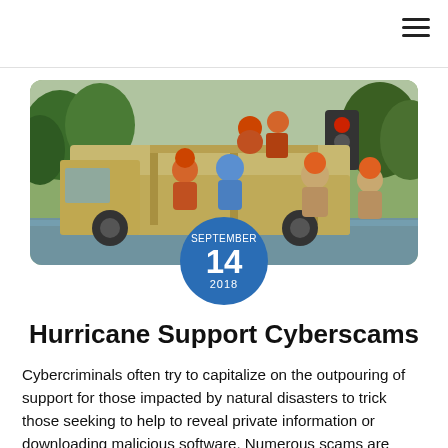[Figure (photo): Rescue workers in orange life vests and helmets help a person in a blue shirt onto a military truck during a flood. Trees and water visible in the background.]
Hurricane Support Cyberscams
Cybercriminals often try to capitalize on the outpouring of support for those impacted by natural disasters to trick those seeking to help to reveal private information or downloading malicious software. Numerous scams are circulating via email and social media from